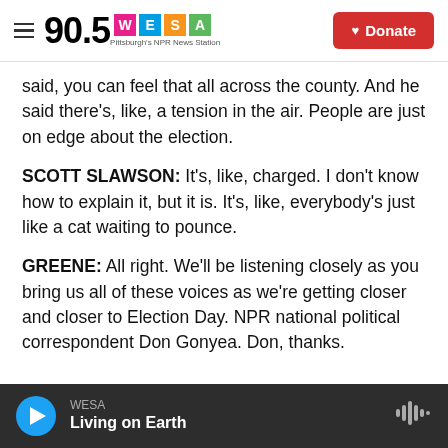90.5 WESA — Pittsburgh's NPR News Station | Donate
said, you can feel that all across the county. And he said there's, like, a tension in the air. People are just on edge about the election.
SCOTT SLAWSON: It's, like, charged. I don't know how to explain it, but it is. It's, like, everybody's just like a cat waiting to pounce.
GREENE: All right. We'll be listening closely as you bring us all of these voices as we're getting closer and closer to Election Day. NPR national political correspondent Don Gonyea. Don, thanks.
WESA — Living on Earth